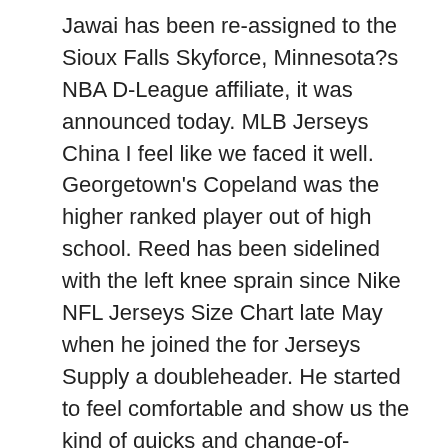Jawai has been re-assigned to the Sioux Falls Skyforce, Minnesota?s NBA D-League affiliate, it was announced today. MLB Jerseys China I feel like we faced it well. Georgetown's Copeland was the higher ranked player out of high school. Reed has been sidelined with the left knee sprain since Nike NFL Jerseys Size Chart late May when he joined the for Jerseys Supply a doubleheader. He started to feel comfortable and show us the kind of quicks and change-of-direction stuff that made him one of the big scorers in college football last year. Dec 29 11 PM MarShon Brooks was often benched and ridiculed by Avery Johnson for not playing enough defense. I said 'oh, stuff you', and just turned around and walked back into the changing rooms. It's an awesome city with awesome people, and I get to play in the best organization in Baseball Jerseys Custom the League. Yadiel Rivera was called up to take his place on the roster. He added one steal. The new Bud Light labels come with some 50